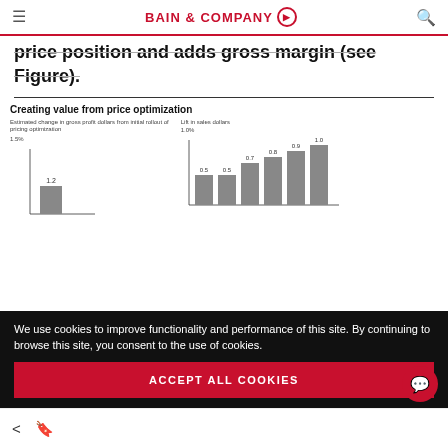BAIN & COMPANY
price position and adds gross margin (see Figure).
[Figure (grouped-bar-chart): Creating value from price optimization]
We use cookies to improve functionality and performance of this site. By continuing to browse this site, you consent to the use of cookies.
ACCEPT ALL COOKIES